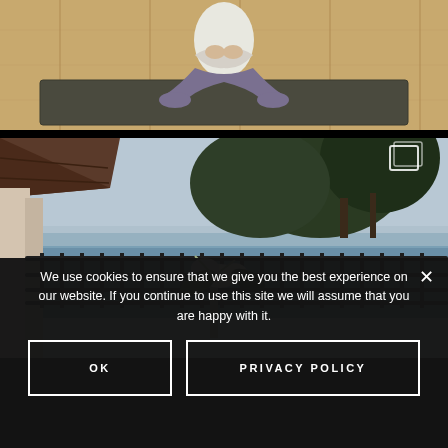[Figure (photo): Person in white top and grey pants sitting cross-legged on a dark yoga mat on wooden floor, hands on chest, from chest down]
[Figure (photo): Outdoor balcony with black metal railing, flowers in foreground, pine trees and ocean/sea visible in background, Japanese-style roof structure on left]
We use cookies to ensure that we give you the best experience on our website. If you continue to use this site we will assume that you are happy with it.
OK
PRIVACY POLICY